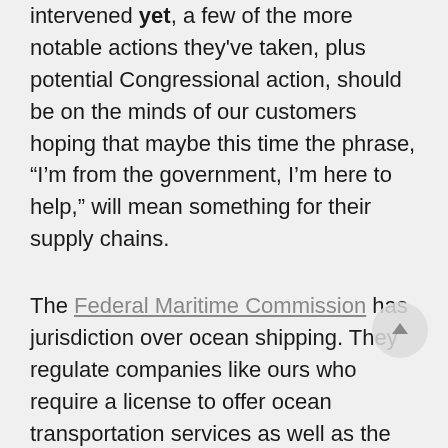intervened yet, a few of the more notable actions they've taken, plus potential Congressional action, should be on the minds of our customers hoping that maybe this time the phrase, “I’m from the government, I’m here to help,” will mean something for their supply chains.
The Federal Maritime Commission has jurisdiction over ocean shipping. They regulate companies like ours who require a license to offer ocean transportation services as well as the carriers who operate the vessels. Last